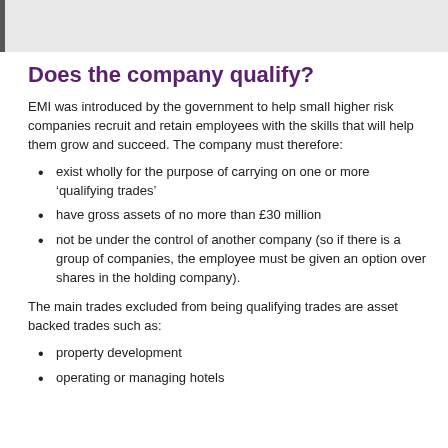Does the company qualify?
EMI was introduced by the government to help small higher risk companies recruit and retain employees with the skills that will help them grow and succeed. The company must therefore:
exist wholly for the purpose of carrying on one or more ‘qualifying trades’
have gross assets of no more than £30 million
not be under the control of another company (so if there is a group of companies, the employee must be given an option over shares in the holding company).
The main trades excluded from being qualifying trades are asset backed trades such as:
property development
operating or managing hotels